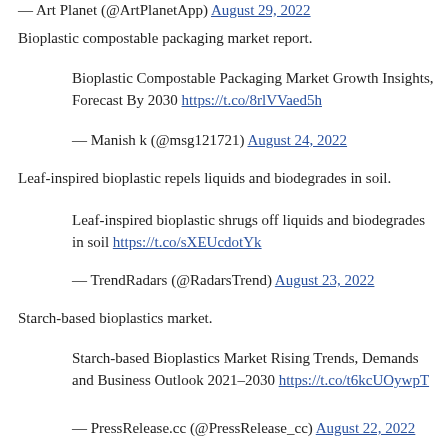— Art Planet (@ArtPlanetApp) August 29, 2022
Bioplastic compostable packaging market report.
Bioplastic Compostable Packaging Market Growth Insights, Forecast By 2030 https://t.co/8rlVVaed5h
— Manish k (@msg121721) August 24, 2022
Leaf-inspired bioplastic repels liquids and biodegrades in soil.
Leaf-inspired bioplastic shrugs off liquids and biodegrades in soil https://t.co/sXEUcdotYk
— TrendRadars (@RadarsTrend) August 23, 2022
Starch-based bioplastics market.
Starch-based Bioplastics Market Rising Trends, Demands and Business Outlook 2021–2030 https://t.co/t6kcUOywpT
— PressRelease.cc (@PressRelease_cc) August 22, 2022